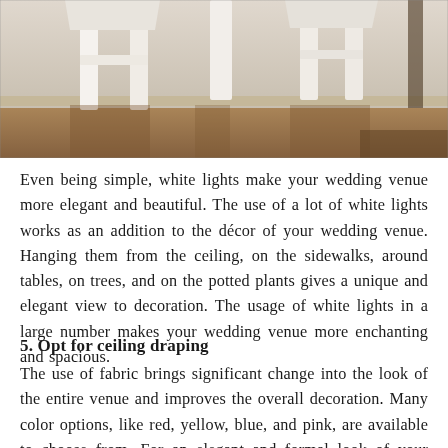[Figure (photo): Photo of white chairs/furniture legs on a wooden floor against a white wall, likely a wedding venue interior]
Even being simple, white lights make your wedding venue more elegant and beautiful. The use of a lot of white lights works as an addition to the décor of your wedding venue. Hanging them from the ceiling, on the sidewalks, around tables, on trees, and on the potted plants gives a unique and elegant view to decoration. The usage of white lights in a large number makes your wedding venue more enchanting and spacious.
5. Opt for ceiling draping
The use of fabric brings significant change into the look of the entire venue and improves the overall decoration. Many color options, like red, yellow, blue, and pink, are available to choose from. For an elegant and formal look of your wedding venue,